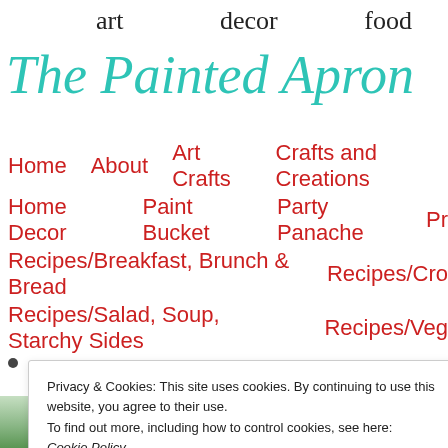[Figure (screenshot): Website header for The Painted Apron blog showing tagline with 'art decor food' in script, logo in teal script, navigation menu in red, and a cookie consent popup overlay]
The Painted Apron
art   decor   food
Home
About
Art Crafts
Crafts and Creations
Home Decor
Paint Bucket
Party Panache
Pr
Recipes/Breakfast, Brunch & Bread
Recipes/Cro
Recipes/Salad, Soup, Starchy Sides
Recipes/Veg
Privacy & Cookies: This site uses cookies. By continuing to use this website, you agree to their use.
To find out more, including how to control cookies, see here: Cookie Policy
Close and accept
Paint